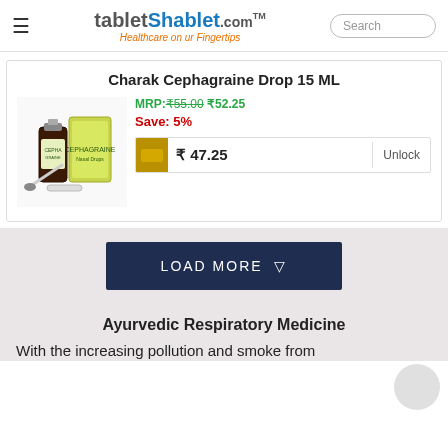tabletShablet.com — Healthcare on ur Fingertips
Charak Cephagraine Drop 15 ML
MRP: ₹55.00 ₹52.25
Save: 5%
₹ 47.25  Unlock
[Figure (photo): Product photo of Charak Cephagraine Drop 15 ML bottle and box with dropper]
LOAD MORE ▾
Ayurvedic Respiratory Medicine
With the increasing pollution and smoke from